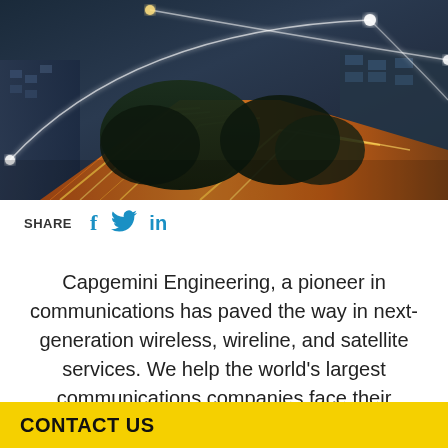[Figure (photo): Aerial view of a city highway interchange at night with light trails and glowing network connection arcs overlaid on the image]
SHARE  f  🐦  in
Capgemini Engineering, a pioneer in communications has paved the way in next-generation wireless, wireline, and satellite services. We help the world's largest communications companies face their
CONTACT US